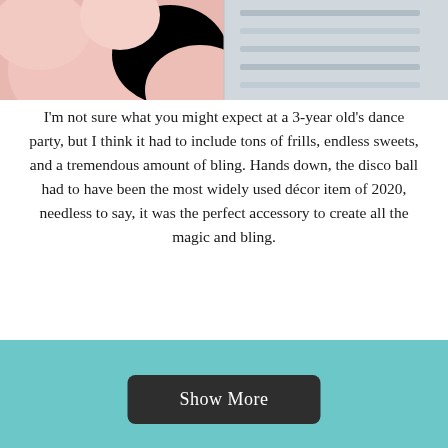[Figure (photo): Close-up photo showing pink/flesh-toned rounded shapes (possibly balloons or candy) on the left and metallic/silver surface on the right]
I'm not sure what you might expect at a 3-year old's dance party, but I think it had to include tons of frills, endless sweets, and a tremendous amount of bling. Hands down, the disco ball had to have been the most widely used décor item of 2020, needless to say, it was the perfect accessory to create all the magic and bling.
[Figure (photo): Close-up photo of cream/beige rounded balls or spheres, possibly cake pops or candies, in warm tones]
Show More